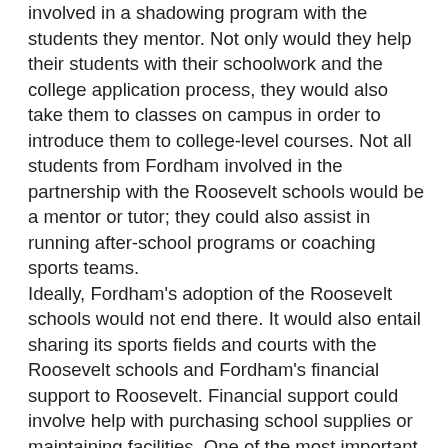involved in a shadowing program with the students they mentor. Not only would they help their students with their schoolwork and the college application process, they would also take them to classes on campus in order to introduce them to college-level courses. Not all students from Fordham involved in the partnership with the Roosevelt schools would be a mentor or tutor; they could also assist in running after-school programs or coaching sports teams. Ideally, Fordham's adoption of the Roosevelt schools would not end there. It would also entail sharing its sports fields and courts with the Roosevelt schools and Fordham's financial support to Roosevelt. Financial support could involve help with purchasing school supplies or maintaining facilities. One of the most important aspects of Fordham's adoption of Roosevelt would be the system through which a number of students from Roosevelt would be guaranteed admission to Fordham each year. This number should be set each year, and should increase from one year to the next, reaching a cap at 50 (however, there should never be a cap on how many students from Roosevelt could be admitted to Fordham, just how many are required). Through these combined efforts, Fordham could change the face of high